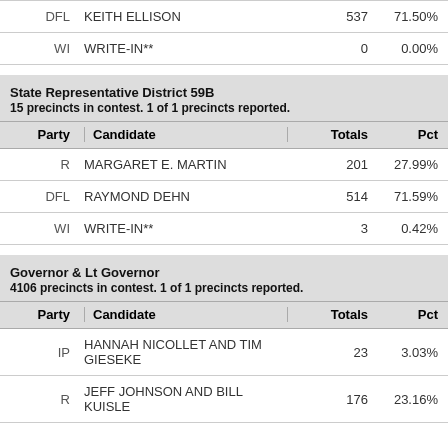| Party | Candidate | Totals | Pct |
| --- | --- | --- | --- |
| DFL | KEITH ELLISON | 537 | 71.50% |
| WI | WRITE-IN** | 0 | 0.00% |
State Representative District 59B
15 precincts in contest. 1 of 1 precincts reported.
| Party | Candidate | Totals | Pct |
| --- | --- | --- | --- |
| R | MARGARET E. MARTIN | 201 | 27.99% |
| DFL | RAYMOND DEHN | 514 | 71.59% |
| WI | WRITE-IN** | 3 | 0.42% |
Governor & Lt Governor
4106 precincts in contest. 1 of 1 precincts reported.
| Party | Candidate | Totals | Pct |
| --- | --- | --- | --- |
| IP | HANNAH NICOLLET AND TIM GIESEKE | 23 | 3.03% |
| R | JEFF JOHNSON AND BILL KUISLE | 176 | 23.16% |